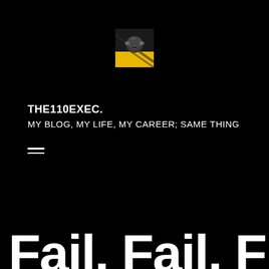[Figure (photo): Small square thumbnail photo of a person holding a camera, taken from above, with yellow and motion-blurred background. Appears to be a blog logo/avatar image.]
THE110EXEC.
MY BLOG, MY LIFE, MY CAREER; SAME THING
[Figure (other): Hamburger menu icon — two horizontal white lines]
Fail, Fail, Fly